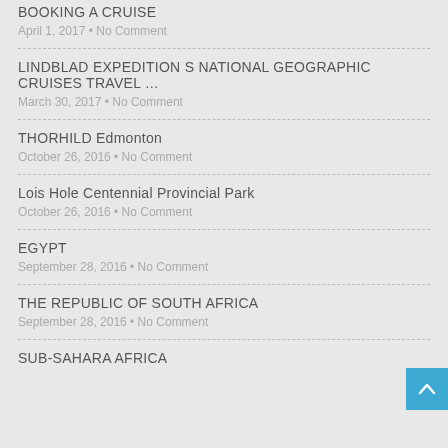BOOKING A CRUISE
April 1, 2017 • No Comment
LINDBLAD EXPEDITION S NATIONAL GEOGRAPHIC CRUISES TRAVEL …
March 30, 2017 • No Comment
THORHILD Edmonton
October 26, 2016 • No Comment
Lois Hole Centennial Provincial Park
October 26, 2016 • No Comment
EGYPT
September 28, 2016 • No Comment
THE REPUBLIC OF SOUTH AFRICA
September 28, 2016 • No Comment
SUB-SAHARA AFRICA